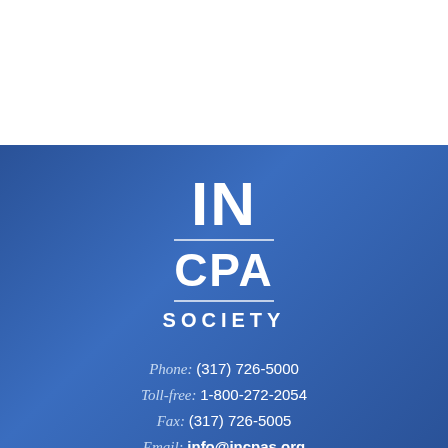[Figure (logo): IN CPA SOCIETY logo in white text on blue gradient background]
Phone: (317) 726-5000
Toll-free: 1-800-272-2054
Fax: (317) 726-5005
Email: info@incpas.org
900 E. 96th St., #250
Indianapolis, IN 46240